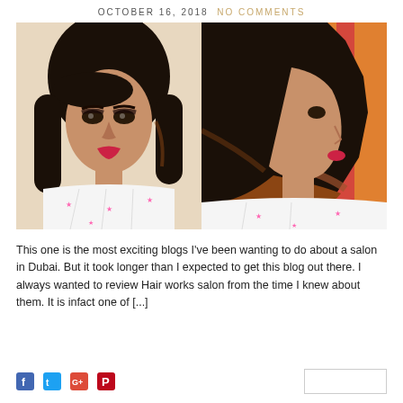OCTOBER 16, 2018   NO COMMENTS
[Figure (photo): Two side-by-side photos of a woman with a short black bob haircut with auburn highlights, wearing a white top with pink star pattern. Left photo is a front-facing selfie, right photo shows the side/back view of the haircut.]
This one is the most exciting blogs I've been wanting to do about a salon in Dubai. But it took longer than I expected to get this blog out there. I always wanted to review Hair works salon from the time I knew about them. It is infact one of [...]